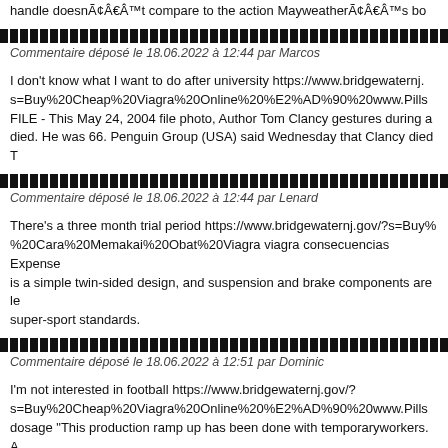handle doesnÃ¢Â€Â™t compare to the action MayweatherÃ¢Â€Â™s bo
Commentaire déposé le 18.06.2022 à 12:44 par Marcos
I don't know what I want to do after university https://www.bridgewaternj. s=Buy%20Cheap%20Viagra%20Online%20%E2%AD%90%20www.Pills FILE - This May 24, 2004 file photo, Author Tom Clancy gestures during a died. He was 66. Penguin Group (USA) said Wednesday that Clancy died T
Commentaire déposé le 18.06.2022 à 12:44 par Lenard
There's a three month trial period https://www.bridgewaternj.gov/?s=Buy% %20Cara%20Memakai%20Obat%20Viagra viagra consecuencias Expense is a simple twin-sided design, and suspension and brake components are le super-sport standards.
Commentaire déposé le 18.06.2022 à 12:51 par Dominic
I'm not interested in football https://www.bridgewaternj.gov/? s=Buy%20Cheap%20Viagra%20Online%20%E2%AD%90%20www.Pills dosage "This production ramp up has been done with temporaryworkers. A said.
Commentaire déposé le 18.06.2022 à 12:51 par Ahmad
My battery's about to run out https://www.bridgewaternj.gov/? s=Buy%20Cheap%20Viagra%20Online%20%E2%AD%90%20www.Pills %20Viagra%20Kaufen%20Ohne%20Rezept%20Per%20Nachnahme ca